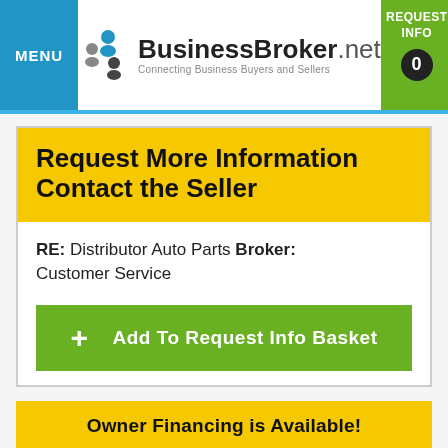MENU | BusinessBroker.net Connecting Business Buyers and Sellers | REQUEST INFO 0
Request More Information Contact the Seller
RE: Distributor Auto Parts Broker: Customer Service
+ Add To Request Info Basket
Owner Financing is Available!